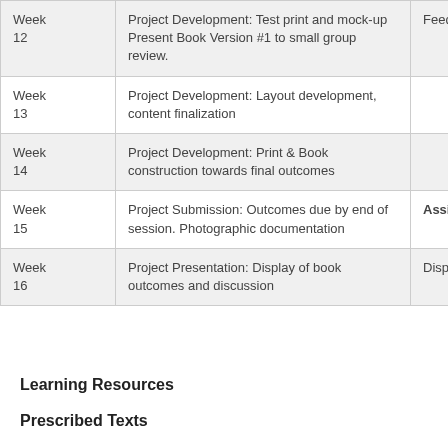| Week | Activity | Assessment |
| --- | --- | --- |
| Week 12 | Project Development: Test print and mock-up Present Book Version #1 to small group review. | Feedback |
| Week 13 | Project Development: Layout development, content finalization |  |
| Week 14 | Project Development: Print & Book construction towards final outcomes |  |
| Week 15 | Project Submission: Outcomes due by end of session. Photographic documentation | Assignment DUE |
| Week 16 | Project Presentation: Display of book outcomes and discussion | Display & |
Learning Resources
Prescribed Texts